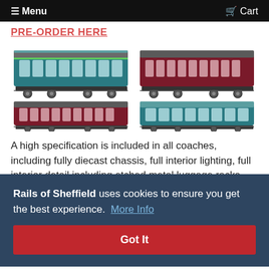≡ Menu   🛒 Cart
PRE-ORDER HERE
[Figure (photo): Four model railway coaches shown in two rows: top-left is a teal/blue coach with grey roof, top-right is a dark red/maroon coach, bottom-left is a dark red/maroon coach, bottom-right is a teal/blue coach.]
A high specification is included in all coaches, including fully diecast chassis, full interior lighting, full interior detail including etched metal luggage racks,
Rails of Sheffield uses cookies to ensure you get the best experience. More Info
Got It
Minimum Radius 438mm (2nd radius set-track).